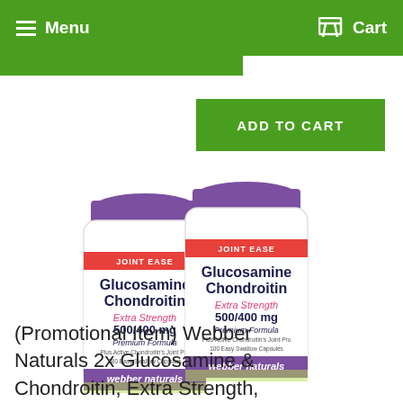Menu  Cart
[Figure (screenshot): Green navigation bar with hamburger Menu on left and Cart icon on right, with white text on green background]
[Figure (photo): Two bottles of Webber Naturals Glucosamine Chondroitin Extra Strength 500/400 mg Joint Ease Premium Formula Easy Swallow Capsules with purple caps and white/yellow labels]
(Promotional Item) Webber Naturals 2x Glucosamine & Chondroitin, Extra Strength, 500 mg 400 caps